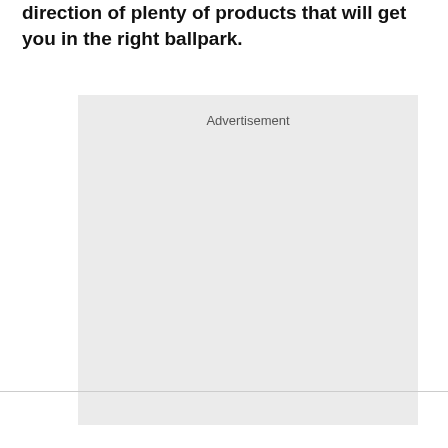direction of plenty of products that will get you in the right ballpark.
[Figure (other): Advertisement placeholder box with light gray background and 'Advertisement' label at the top center.]